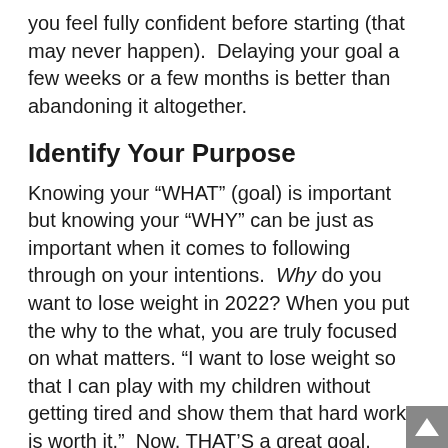you feel fully confident before starting (that may never happen).  Delaying your goal a few weeks or a few months is better than abandoning it altogether.
Identify Your Purpose
Knowing your “WHAT” (goal) is important but knowing your “WHY” can be just as important when it comes to following through on your intentions. Why do you want to lose weight in 2022? When you put the why to the what, you are truly focused on what matters. “I want to lose weight so that I can play with my children without getting tired and show them that hard work is worth it.”  Now, THAT’S a great goal.
Identifying goal-breakers and goal-makers are equally important pieces to achieving what you set out to accomplish, especially with regards to New Year’s resolutions. Commit to making this year the